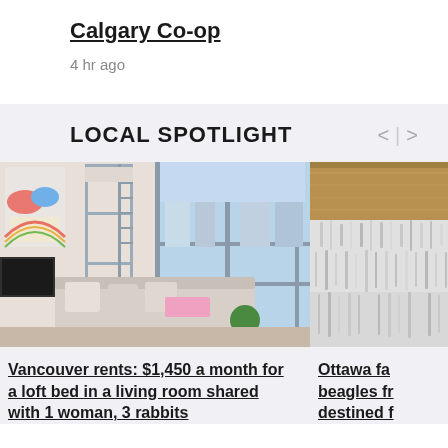Calgary Co-op
4 hr ago
LOCAL SPOTLIGHT
[Figure (photo): Interior of a small apartment with a metal loft bed with ladder, pillows, colorful decorations on the wall, large floor-to-ceiling windows showing a city skyline, a white sofa with scattered pillows and pink blanket, and a green plant.]
[Figure (photo): Close-up of a fluffy gray/white dog or animal fur texture.]
Vancouver rents: $1,450 a month for a loft bed in a living room shared with 1 woman, 3 rabbits
Ottawa far beagles fr destined f